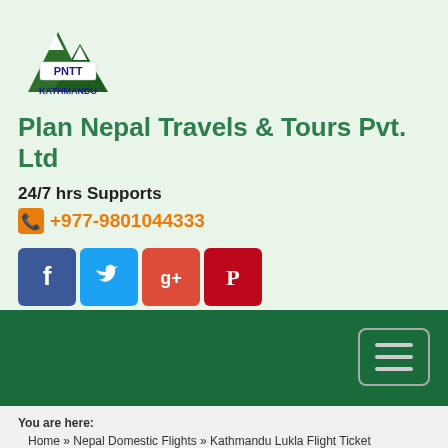[Figure (logo): PNTT Kathmandu mountain logo with green mountains and PNTT text]
Plan Nepal Travels & Tours Pvt. Ltd
24/7 hrs Supports
+977-9801044333
[Figure (illustration): Social media icons: Facebook, Twitter, Google+, Pinterest]
[Figure (screenshot): Dark green navigation bar with hamburger menu button and search by keyword input field]
You are here: Home » Nepal Domestic Flights » Kathmandu Lukla Flight Ticket